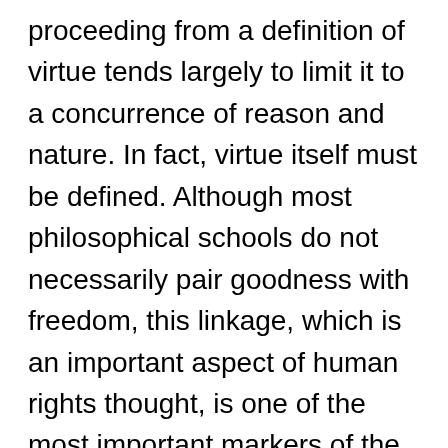proceeding from a definition of virtue tends largely to limit it to a concurrence of reason and nature. In fact, virtue itself must be defined. Although most philosophical schools do not necessarily pair goodness with freedom, this linkage, which is an important aspect of human rights thought, is one of the most important markers of the search for a new ethics based on inner faith and conscience rather than an abstract virtuous city or reward and punishment. In any case, we cannot draw a line from the Stoics or any other single school to the human rights movement. The movement continues to lay its philosophical foundations and define its ethical aspirations drawing on knowledge, ethics,